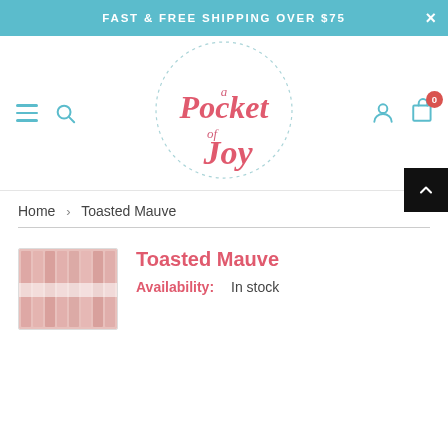FAST & FREE SHIPPING OVER $75
[Figure (logo): a Pocket of Joy logo — script text inside a circular wreath/branch border]
Home > Toasted Mauve
[Figure (photo): Product thumbnail showing pink/mauve nail strips arranged in a row]
Toasted Mauve
Availability: In stock